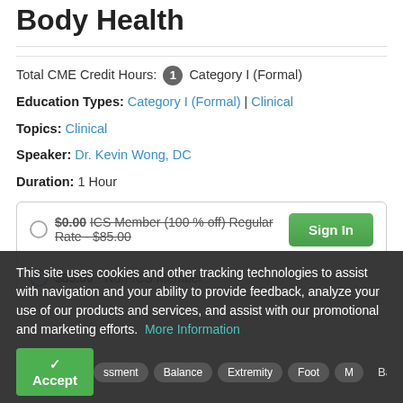Body Health
Total CME Credit Hours: 1 Category I (Formal)
Education Types: Category I (Formal) | Clinical
Topics: Clinical
Speaker: Dr. Kevin Wong, DC
Duration: 1 Hour
$0.00 ICS Member (100 % off) Regular Rate - $85.00 [Sign In button]
$85.00 - Non-ICS Member
This site uses cookies and other tracking technologies to assist with navigation and your ability to provide feedback, analyze your use of our products and services, and assist with our promotional and marketing efforts. More Information
Accept | ssment | Balance | Extremity | Foot | M... Back to Top